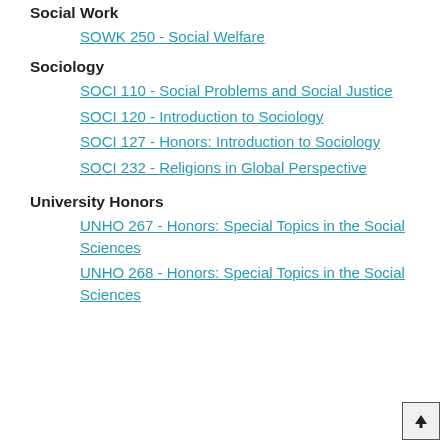Social Work
SOWK 250 - Social Welfare
Sociology
SOCI 110 - Social Problems and Social Justice
SOCI 120 - Introduction to Sociology
SOCI 127 - Honors: Introduction to Sociology
SOCI 232 - Religions in Global Perspective
University Honors
UNHO 267 - Honors: Special Topics in the Social Sciences
UNHO 268 - Honors: Special Topics in the Social Sciences